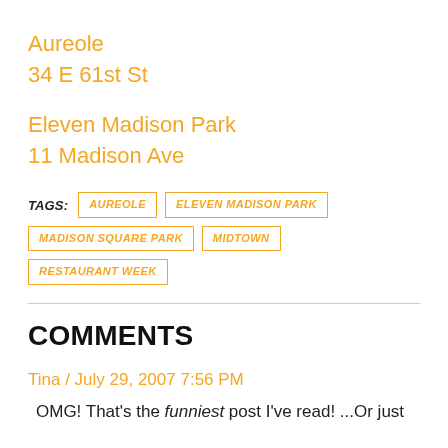Aureole
34 E 61st St
Eleven Madison Park
11 Madison Ave
TAGS: AUREOLE | ELEVEN MADISON PARK | MADISON SQUARE PARK | MIDTOWN | RESTAURANT WEEK
COMMENTS
Tina / July 29, 2007 7:56 PM
OMG! That's the funniest post I've read! ...Or just